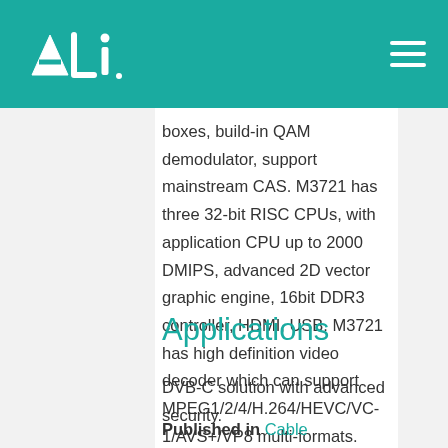ALi
boxes, build-in QAM demodulator, support mainstream CAS. M3721 has three 32-bit RISC CPUs, with application CPU up to 2000 DMIPS, advanced 2D vector graphic engine, 16bit DDR3 controller, HDMI, USB. M3721 has high definition video decoder which can support MPEG1/2/4/H.264/HEVC/VC-1/AVS+/VP8 multi-formats.
Applications
DVB-C solution with advanced security.
Published in  Cable